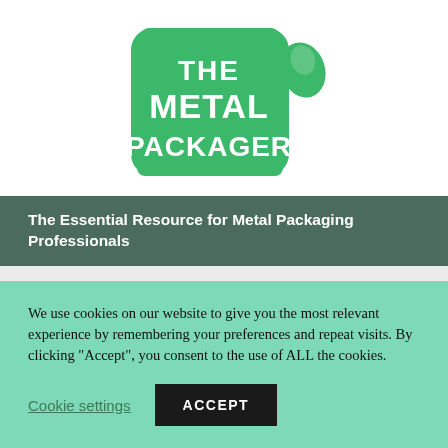[Figure (logo): The Metal Packager logo — a green can-shaped graphic with white bold text reading 'THE METAL PACKAGER' and a small leaf/drop shape to the right]
The Essential Resource for Metal Packaging Professionals
[Figure (screenshot): Partial view of a grey content area with a lighter inner box, partially obscured by the cookie banner]
We use cookies on our website to give you the most relevant experience by remembering your preferences and repeat visits. By clicking "Accept", you consent to the use of ALL the cookies.
Cookie settings
ACCEPT